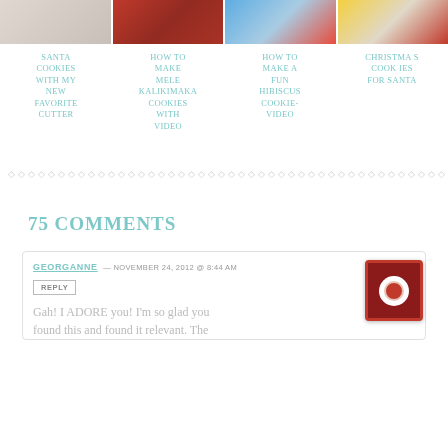[Figure (photo): Four thumbnail photos of Christmas cookie-related content arranged in a row]
SANTA COOKIES WITH MY NEW FAVORITE CUTTER
HOW TO MAKE MELE KALIKIMAKA COOKIES WITH VIDEO
HOW TO MAKE A FUN HIBISCUS COOKIE-VIDEO
CHRISTMAS COOKIES FOR SANTA
75 COMMENTS
GEORGANNE — NOVEMBER 24, 2012 @ 8:44 AM
Gah! I ADORE you! I'm so glad you found this and found it relevant. The